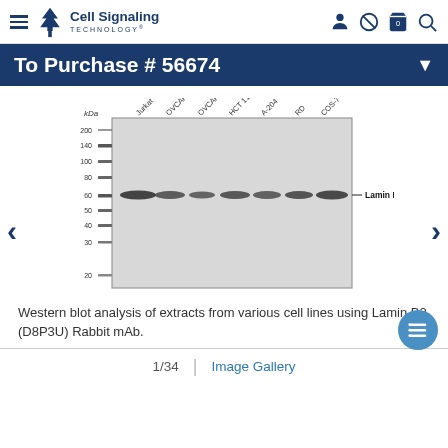Cell Signaling Technology
To Purchase # 56674
[Figure (other): Western blot image showing protein bands for Lamin B2 (~67 kDa) across seven cell lines: Jurkat, OVCAR8, OVCAR3, HCT 116, A-204, RD, COS-7. Molecular weight ladder shown on left with kDa markers: 200, 140, 100, 80, 60, 50, 40, 30, 20.]
Western blot analysis of extracts from various cell lines using Lamin B2 (D8P3U) Rabbit mAb.
1/34 | Image Gallery